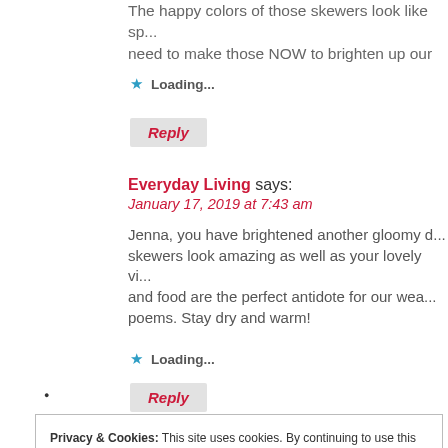The happy colors of those skewers look like sp... need to make those NOW to brighten up our
★ Loading...
Reply
Everyday Living says:
January 17, 2019 at 7:43 am
Jenna, you have brightened another gloomy d... skewers look amazing as well as your lovely vi... and food are the perfect antidote for our wea... poems. Stay dry and warm!
★ Loading...
Reply
Privacy & Cookies: This site uses cookies. By continuing to use this website, you agree to their use.
To find out more, including how to control cookies, see here: Cookie Policy
Close and accept
Reply